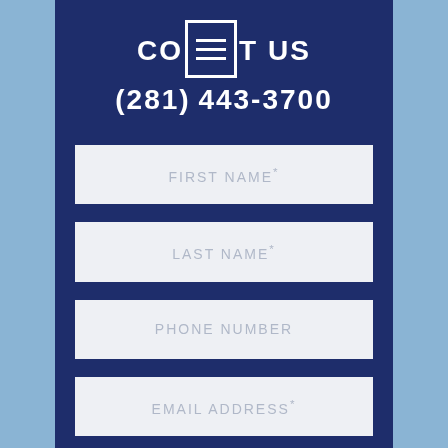CONTACT US
(281) 443-3700
FIRST NAME*
LAST NAME*
PHONE NUMBER
EMAIL ADDRESS*